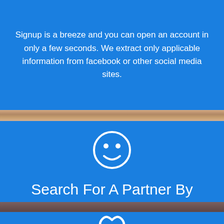Signup is a breeze and you can open an account in only a few seconds. We extract only applicable information from facebook or other social media sites.
[Figure (illustration): White smiley face circle icon on blue background]
Search For A Partner By Relationship Type
One of the most unique features of datememe is that we let you specify exactly which type of relationship you're trying to find.
[Figure (illustration): White heart icon on blue background (partially visible at bottom)]